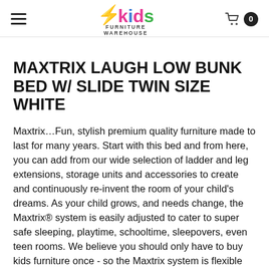Kids Furniture Warehouse — navigation header with hamburger menu and cart
MAXTRIX LAUGH LOW BUNK BED W/ SLIDE TWIN SIZE WHITE
Maxtrix…Fun, stylish premium quality furniture made to last for many years. Start with this bed and from here, you can add from our wide selection of ladder and leg extensions, storage units and accessories to create and continuously re-invent the room of your child's dreams. As your child grows, and needs change, the Maxtrix® system is easily adjusted to cater to super safe sleeping, playtime, schooltime, sleepovers, even teen rooms. We believe you should only have to buy kids furniture once - so the Maxtrix system is flexible and solid enough to last well into the teenage